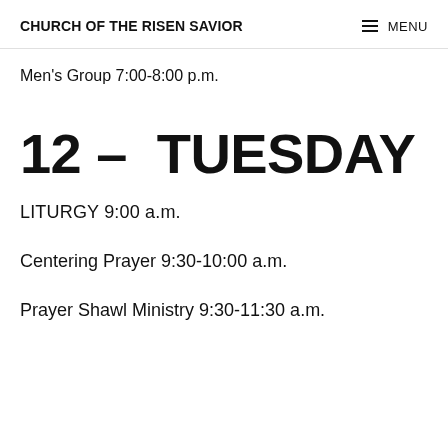CHURCH OF THE RISEN SAVIOR  MENU
Men's Group 7:00-8:00 p.m.
12 –  TUESDAY
LITURGY 9:00 a.m.
Centering Prayer 9:30-10:00 a.m.
Prayer Shawl Ministry 9:30-11:30 a.m.